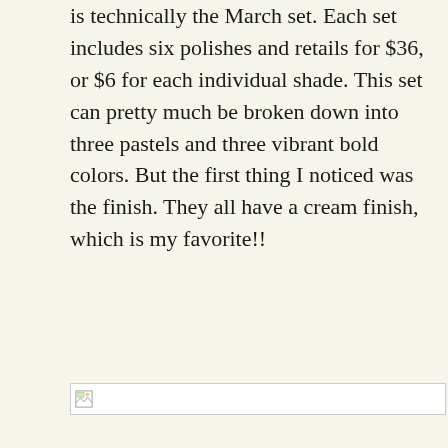is technically the March set. Each set includes six polishes and retails for $36, or $6 for each individual shade. This set can pretty much be broken down into three pastels and three vibrant bold colors. But the first thing I noticed was the finish. They all have a cream finish, which is my favorite!!
[Figure (photo): Broken/unloaded image placeholder with small image icon in top-left corner]